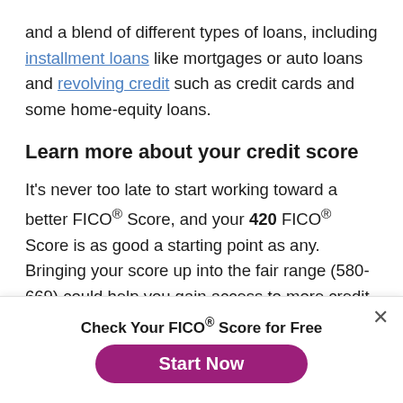and a blend of different types of loans, including installment loans like mortgages or auto loans and revolving credit such as credit cards and some home-equity loans.
Learn more about your credit score
It's never too late to start working toward a better FICO® Score, and your 420 FICO® Score is as good a starting point as any. Bringing your score up into the fair range (580-669) could help you gain access to more credit options, lower interest rates, and reduced fees. You can get begin right away with your free credit report from Experian and
Check Your FICO® Score for Free
Start Now